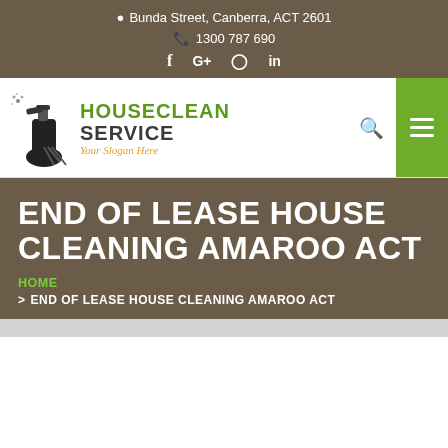📍 Bunda Street, Canberra, ACT 2601 | 📞 1300 787 690
[Figure (logo): HouseClean Service logo with cleaning spray bottle icon, green and dark text, orange italic slogan 'Your Slogan Here']
END OF LEASE HOUSE CLEANING AMAROO ACT
HOME > END OF LEASE HOUSE CLEANING AMAROO ACT